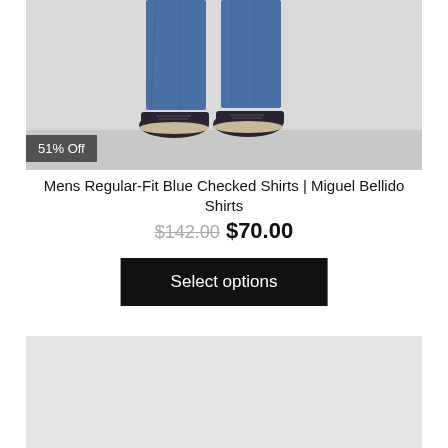[Figure (photo): Product photo showing lower body of a person wearing blue jeans and dark navy canvas shoes against a light grey/white background. A dark grey badge in the bottom-left corner reads '51% Off'.]
Mens Regular-Fit Blue Checked Shirts | Miguel Bellido Shirts
$142.00 $70.00
Select options
[Figure (photo): Second product image, partially visible, showing a light grey background.]